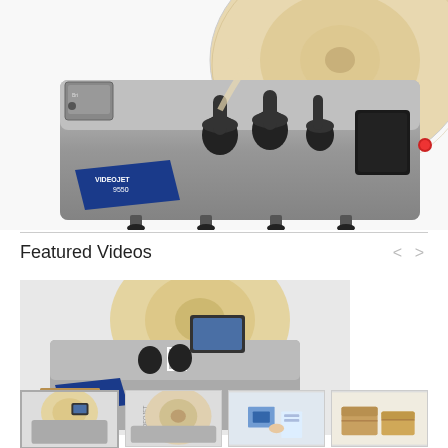[Figure (photo): Close-up of Videojet 9550 label applicator machine showing label roll, rollers, and the Videojet 9550 branded component in blue and silver]
Featured Videos
[Figure (photo): Main featured video thumbnail showing Videojet label applicator machine with label roll and touchscreen display, cardboard box nearby]
[Figure (photo): Small thumbnail 1: Videojet label applicator with label roll and touchscreen]
[Figure (photo): Small thumbnail 2: Videojet machine close-up]
[Figure (photo): Small thumbnail 3: Person handling labels/documents]
[Figure (photo): Small thumbnail 4: Cardboard boxes]